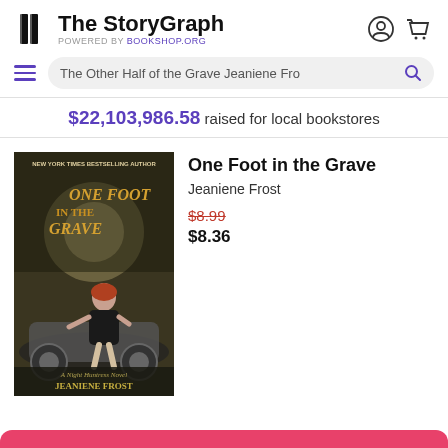The StoryGraph POWERED BY Bookshop.org
The Other Half of the Grave Jeaniene Fro [search query]
$22,103,986.58 raised for local bookstores
[Figure (photo): Book cover of 'One Foot in the Grave' by Jeaniene Frost — Night Huntress Novel. Shows a woman on a motorcycle under moonlight. Text: NEW YORK TIMES BESTSELLING AUTHOR, One Foot in the Grave, A Night Huntress Novel, Jeaniene Frost, CAT WILL HAVE YOU STAKED IN FIVE SECONDS FLAT — Cheyenne McCray, USA Today bestselling author]
One Foot in the Grave
Jeaniene Frost
$8.99
$8.36